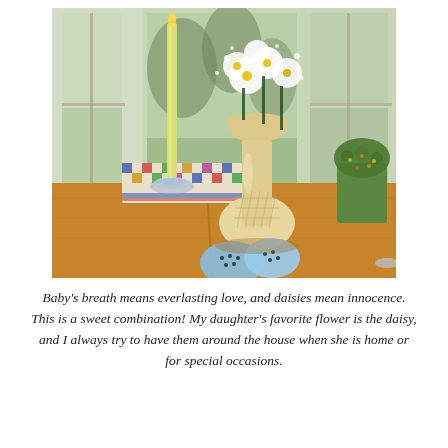[Figure (photo): Indoor dining table scene with a decorative ceramic vase holding white daisies and baby's breath, a tall yellow-green taper candle in a crystal candlestick, blue salt and pepper shakers in the foreground, a checkered placemat, and green topiary decoration, with windows showing an outdoor wooded scene in the background.]
Baby's breath means everlasting love, and daisies mean innocence.  This is a sweet combination!  My daughter's favorite flower is the daisy, and I always try to have them around the house when she is home or for special occasions.